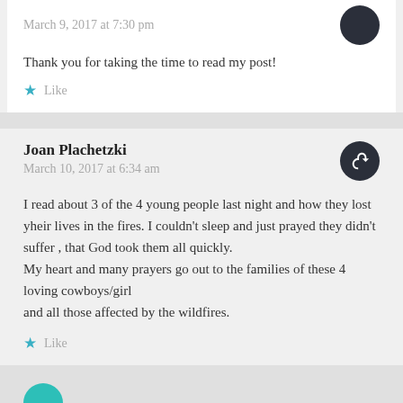March 9, 2017 at 7:30 pm
Thank you for taking the time to read my post!
Like
Joan Plachetzki
March 10, 2017 at 6:34 am
I read about 3 of the 4 young people last night and how they lost yheir lives in the fires. I couldn't sleep and just prayed they didn't suffer , that God took them all quickly.
My heart and many prayers go out to the families of these 4 loving cowboys/girl
and all those affected by the wildfires.
Like